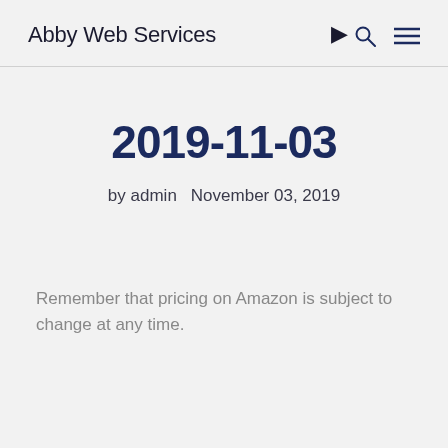Abby Web Services
2019-11-03
by admin   November 03, 2019
Remember that pricing on Amazon is subject to change at any time.